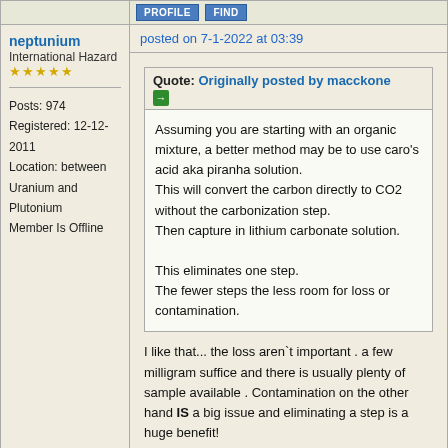[Figure (screenshot): Profile and Find buttons in the top row of a forum post layout]
neptunium
International Hazard
★★★★★

Posts: 974
Registered: 12-12-2011
Location: between Uranium and Plutonium
Member Is Offline
posted on 7-1-2022 at 03:39
Quote: Originally posted by macckone

Assuming you are starting with an organic mixture, a better method may be to use caro's acid aka piranha solution.
This will convert the carbon directly to CO2 without the carbonization step.
Then capture in lithium carbonate solution.

This eliminates one step.
The fewer steps the less room for loss or contamination.
I like that... the loss aren`t important . a few milligram suffice and there is usually plenty of sample available . Contamination on the other hand IS a big issue and eliminating a step is a huge benefit!